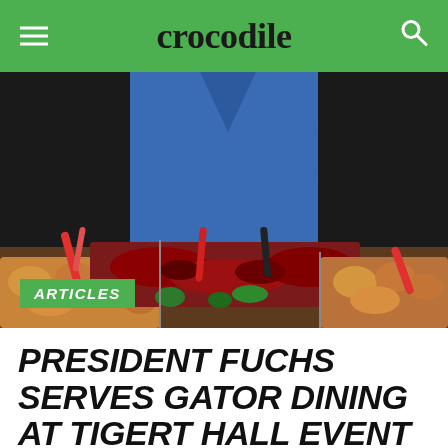crocodile
[Figure (photo): A person in a blue blazer standing behind a buffet table with trays of food including fried chicken, roasted meats, broccoli, and other dishes at what appears to be a catering event.]
ARTICLES
PRESIDENT FUCHS SERVES GATOR DINING AT TIGERT HALL EVENT